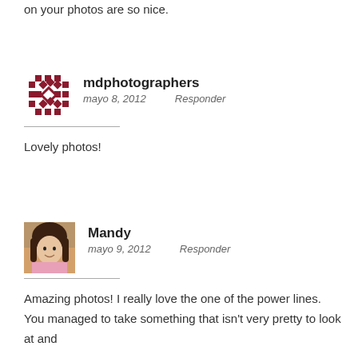on your photos are so nice.
[Figure (illustration): Quilt pattern avatar icon for mdphotographers, dark red geometric pattern]
mdphotographers
mayo 8, 2012   Responder
Lovely photos!
[Figure (photo): Photo of Mandy, a woman with dark hair, smiling, wearing pink]
Mandy
mayo 9, 2012   Responder
Amazing photos! I really love the one of the power lines. You managed to take something that isn't very pretty to look at and